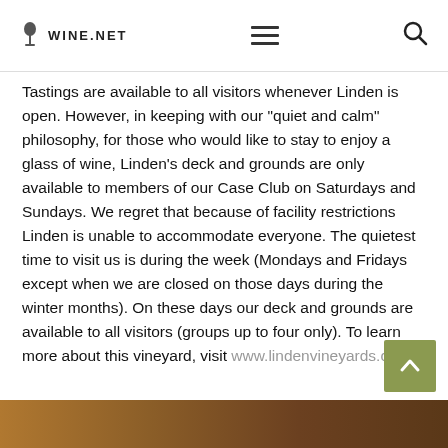WINE.NET
Tastings are available to all visitors whenever Linden is open. However, in keeping with our "quiet and calm" philosophy, for those who would like to stay to enjoy a glass of wine, Linden's deck and grounds are only available to members of our Case Club on Saturdays and Sundays. We regret that because of facility restrictions Linden is unable to accommodate everyone. The quietest time to visit us is during the week (Mondays and Fridays except when we are closed on those days during the winter months). On these days our deck and grounds are available to all visitors (groups up to four only). To learn more about this vineyard, visit www.lindenvineyards.com.
[Figure (photo): Landscape/vineyard photo at bottom of page]